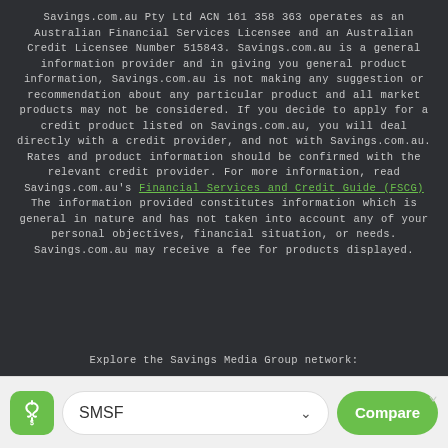Savings.com.au Pty Ltd ACN 161 358 363 operates as an Australian Financial Services Licensee and an Australian Credit Licensee Number 515843. Savings.com.au is a general information provider and in giving you general product information, Savings.com.au is not making any suggestion or recommendation about any particular product and all market products may not be considered. If you decide to apply for a credit product listed on Savings.com.au, you will deal directly with a credit provider, and not with Savings.com.au. Rates and product information should be confirmed with the relevant credit provider. For more information, read Savings.com.au's Financial Services and Credit Guide (FSCG) The information provided constitutes information which is general in nature and has not taken into account any of your personal objectives, financial situation, or needs. Savings.com.au may receive a fee for products displayed.
Explore the Savings Media Group network: